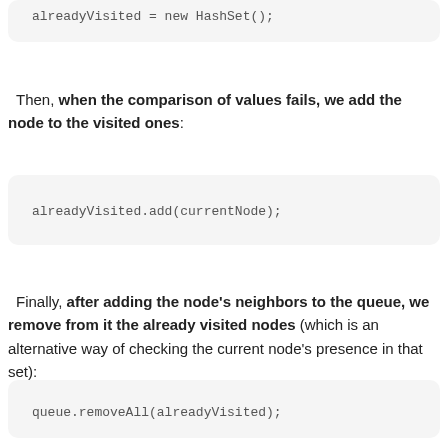[Figure (screenshot): Code block showing: alreadyVisited = new HashSet();]
Then, when the comparison of values fails, we add the node to the visited ones:
[Figure (screenshot): Code block showing: alreadyVisited.add(currentNode);]
Finally, after adding the node's neighbors to the queue, we remove from it the already visited nodes (which is an alternative way of checking the current node's presence in that set):
[Figure (screenshot): Code block showing: queue.removeAll(alreadyVisited);]